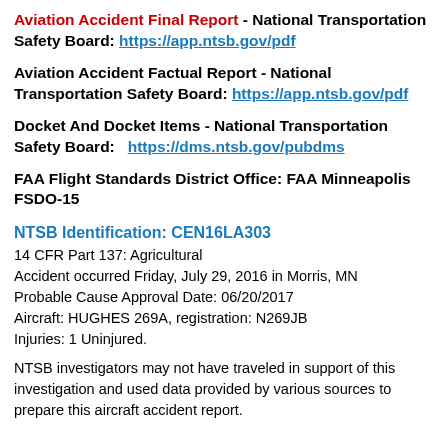Aviation Accident Final Report - National Transportation Safety Board: https://app.ntsb.gov/pdf
Aviation Accident Factual Report - National Transportation Safety Board: https://app.ntsb.gov/pdf
Docket And Docket Items - National Transportation Safety Board: https://dms.ntsb.gov/pubdms
FAA Flight Standards District Office: FAA Minneapolis FSDO-15
NTSB Identification: CEN16LA303
14 CFR Part 137: Agricultural
Accident occurred Friday, July 29, 2016 in Morris, MN
Probable Cause Approval Date: 06/20/2017
Aircraft: HUGHES 269A, registration: N269JB
Injuries: 1 Uninjured.
NTSB investigators may not have traveled in support of this investigation and used data provided by various sources to prepare this aircraft accident report.